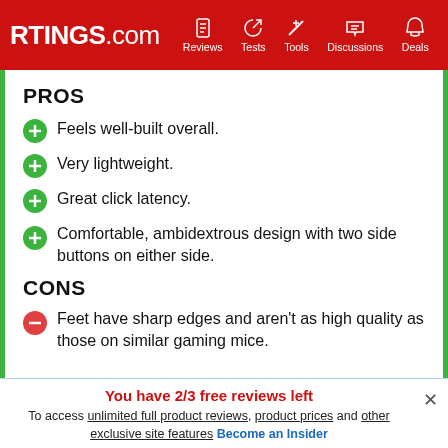RTINGS.com | Reviews | Tests | Tools | Discussions | Deals
PROS
Feels well-built overall.
Very lightweight.
Great click latency.
Comfortable, ambidextrous design with two side buttons on either side.
CONS
Feet have sharp edges and aren't as high quality as those on similar gaming mice.
You have 2/3 free reviews left
To access unlimited full product reviews, product prices and other exclusive site features Become an Insider